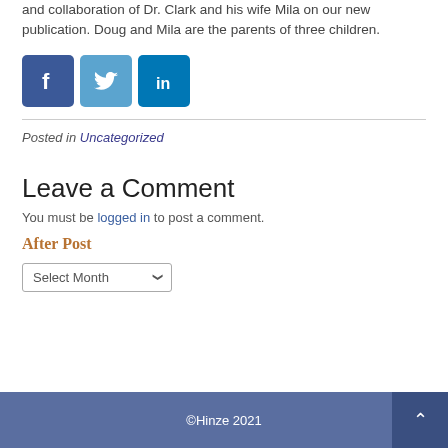and collaboration of Dr. Clark and his wife Mila on our new publication. Doug and Mila are the parents of three children.
[Figure (illustration): Social media share icons: Facebook (blue), Twitter (light blue), LinkedIn (dark blue)]
Posted in Uncategorized
Leave a Comment
You must be logged in to post a comment.
After Post
Select Month
©Hinze 2021